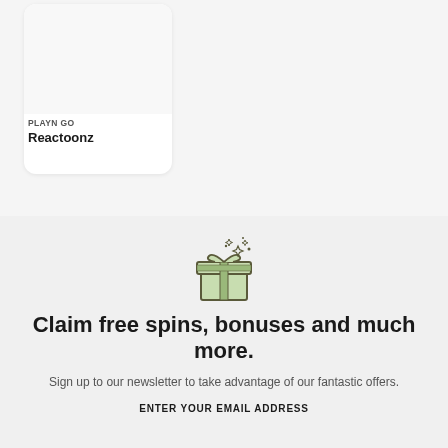[Figure (other): Game card for 'Reactoonz' by PLAYN GO with a light gray image area and rounded corners]
PLAYN GO
Reactoonz
[Figure (illustration): Open gift box icon with stars and sparkles, line art style with light green fill]
Claim free spins, bonuses and much more.
Sign up to our newsletter to take advantage of our fantastic offers.
ENTER YOUR EMAIL ADDRESS